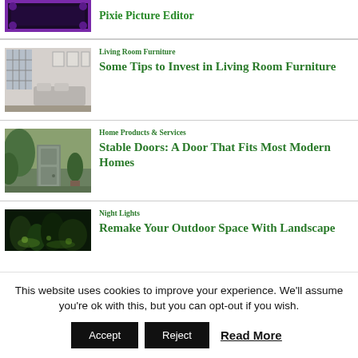[Figure (photo): Purple decorative frame on dark background, partial crop at top of page]
[Figure (photo): Modern living room with grey sofas, large windows]
Living Room Furniture
Some Tips to Invest in Living Room Furniture
[Figure (photo): Stable door with plants and foliage around it]
Home Products & Services
Stable Doors: A Door That Fits Most Modern Homes
[Figure (photo): Night landscape with illuminated trees]
Night Lights
Remake Your Outdoor Space With Landscape
This website uses cookies to improve your experience. We'll assume you're ok with this, but you can opt-out if you wish.